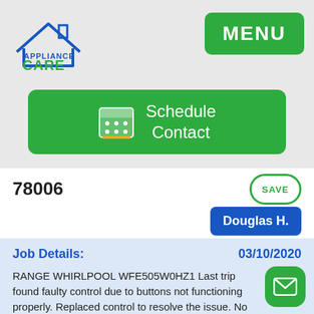[Figure (logo): Appliance Care logo with house icon and blue/green text]
MENU
[Figure (other): Schedule Contact button with calendar icon]
78006
SAVE
Douglas H.
Job Details:
03/10/2020
RANGE WHIRLPOOL WFE505W0HZ1 Last trip found faulty control due to buttons not functioning properly. Replaced control to resolve the issue. No further issues at this point.